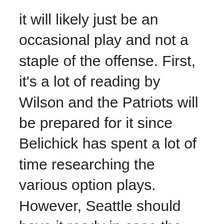it will likely just be an occasional play and not a staple of the offense. First, it's a lot of reading by Wilson and the Patriots will be prepared for it since Belichick has spent a lot of time researching the various option plays. However, Seattle should have it ready in case the situation arises.
I don't see a scenario where the Seahawks can win the game relying on their passing game. The Patriots' secondary is so good and the Seahawks derive so much of their success in the passing game off defenses overcommitting to the running game. The